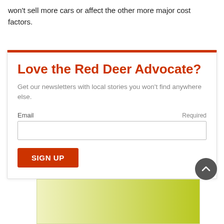won't sell more cars or affect the other more major cost factors.
Love the Red Deer Advocate?
Get our newsletters with local stories you won't find anywhere else.
Email  Required
[Figure (other): Email input field for newsletter signup]
SIGN UP
[Figure (other): Scroll to top circular button with upward chevron]
[Figure (other): Advertisement banner with yellow-green gradient]